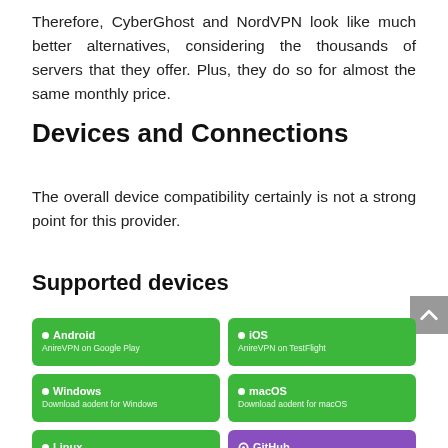Therefore, CyberGhost and NordVPN look like much better alternatives, considering the thousands of servers that they offer. Plus, they do so for almost the same monthly price.
Devices and Connections
The overall device compatibility certainly is not a strong point for this provider.
Supported devices
[Figure (infographic): Grid of supported device cards: Android (AnireVPN on Google Play), iOS (AnireVPN on TestFlight), Windows (Download aodent for Windows), macOS (Download aodent for macOS), Linux (Download aodent for Linux), GitHub (Grab the source code). Android/iOS/Windows/macOS/Linux cards are green; GitHub card is purple.]